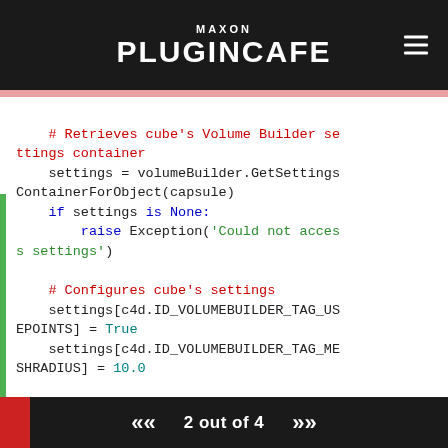MAXON PLUGINCAFE
# Retrieves cube's Volume Builder settings container
    settings = volumeBuilder.GetSettingsContainerForObject(capsule)
    if settings is None:
        raise Exception('Could not access settings')

    # Configures cube's settings
    settings[c4d.ID_VOLUMEBUILDER_TAG_USEPOINTS] = True
    settings[c4d.ID_VOLUMEBUILDER_TAG_MESHRADIUS] = 10.0

    volumeBuilder.SetBoolMode(0, c4d.BOOLTYPE_DIFF)
2 out of 4